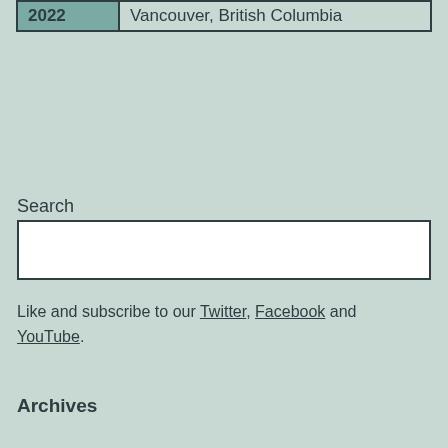| 2022 | Vancouver, British Columbia |
Search
Like and subscribe to our Twitter, Facebook and YouTube.
Archives